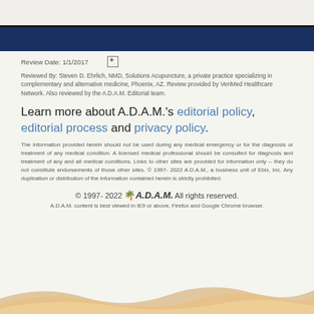Review Date: 1/1/2017
Reviewed By: Steven D. Ehrlich, NMD, Solutions Acupuncture, a private practice specializing in complementary and alternative medicine, Phoenix, AZ. Review provided by VeriMed Healthcare Network. Also reviewed by the A.D.A.M. Editorial team.
Learn more about A.D.A.M.'s editorial policy, editorial process and privacy policy.
The information provided herein should not be used during any medical emergency or for the diagnosis or treatment of any medical condition. A licensed medical professional should be consulted for diagnosis and treatment of any and all medical conditions. Links to other sites are provided for information only -- they do not constitute endorsements of those other sites. © 1997- 2022 A.D.A.M., a business unit of Ebix, Inc. Any duplication or distribution of the information contained herein is strictly prohibited.
© 1997- 2022 A.D.A.M. All rights reserved. A.D.A.M. content is best viewed in IE9 or above, Firefox and Google Chrome browser.